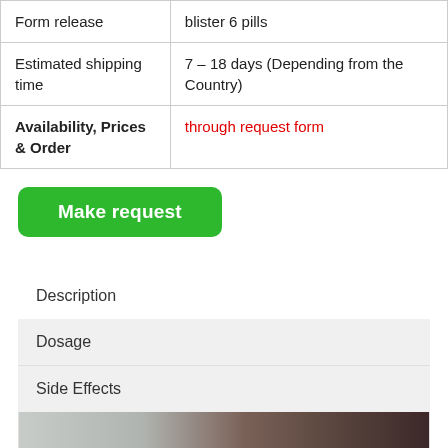|  |  |
| --- | --- |
| Form release | blister 6 pills |
| Estimated shipping time | 7 – 18 days (Depending from the Country) |
| Availability, Prices & Order | through request form |
Make request
Description
Dosage
Side Effects
[Figure (photo): Blurred product photo showing a pill or medication item with brown/grey tones]